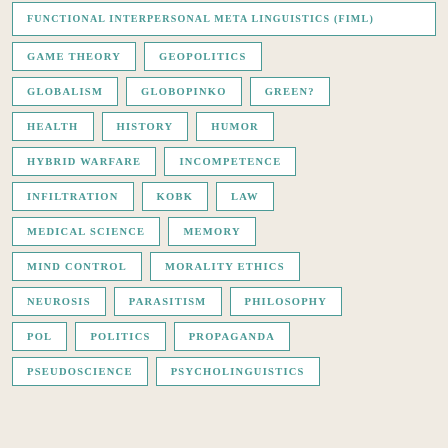FUNCTIONAL INTERPERSONAL META LINGUISTICS (FIML)
GAME THEORY
GEOPOLITICS
GLOBALISM
GLOBOPINKO
GREEN?
HEALTH
HISTORY
HUMOR
HYBRID WARFARE
INCOMPETENCE
INFILTRATION
KOBK
LAW
MEDICAL SCIENCE
MEMORY
MIND CONTROL
MORALITY ETHICS
NEUROSIS
PARASITISM
PHILOSOPHY
POL
POLITICS
PROPAGANDA
PSEUDOSCIENCE
PSYCHOLINGUISTICS